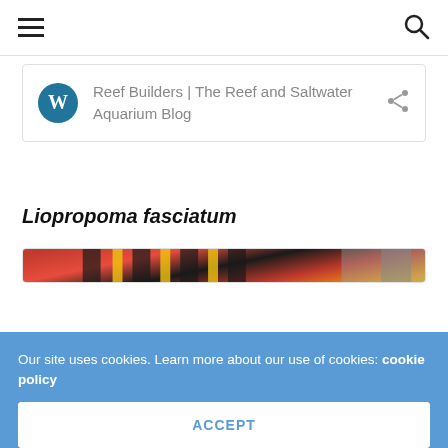Navigation bar with hamburger menu and search icon
Reef Builders | The Reef and Saltwater Aquarium Blog
Liopropoma fasciatum
[Figure (photo): Close-up photo of a Liopropoma fasciatum fish showing vivid red, yellow, and dark horizontal stripes along its body, with coral reef elements visible in the background.]
Our site uses cookies. Learn more about our use of cookies: cookie policy
ACCEPT